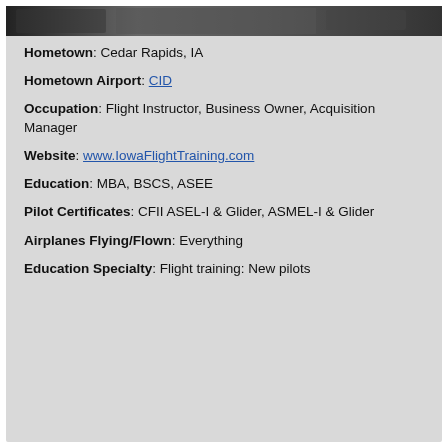[Figure (photo): Black and white photo of a person in an aircraft cockpit]
Hometown: Cedar Rapids, IA
Hometown Airport: CID
Occupation: Flight Instructor, Business Owner, Acquisition Manager
Website: www.IowaFlightTraining.com
Education: MBA, BSCS, ASEE
Pilot Certificates: CFII ASEL-I & Glider, ASMEL-I & Glider
Airplanes Flying/Flown: Everything
Education Specialty: Flight training: New pilots